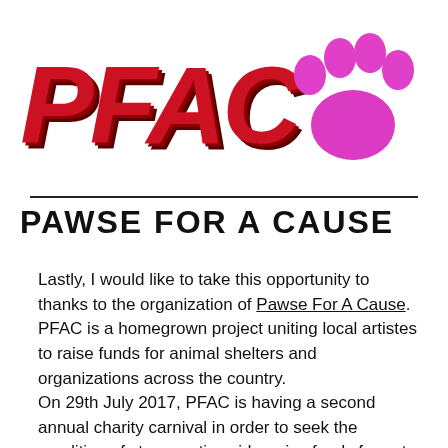[Figure (logo): PFAC logo with large bold red italic text 'PFAC' and a pink paw print to the right]
PAWSE FOR A CAUSE
Lastly, I would like to take this opportunity to thanks to the organization of Pawse For A Cause.
PFAC is a homegrown project uniting local artistes to raise funds for animal shelters and organizations across the country.
On 29th July 2017, PFAC is having a second annual charity carnival in order to seek the condition of strays nationwide, raise funds for pet non-profits, and educate the public on the Animal Welfare Act soon taking effect.